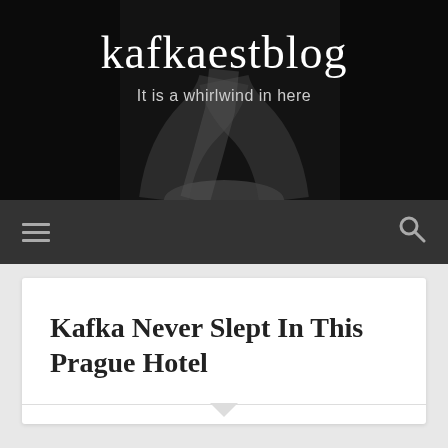[Figure (photo): Black and white photo of a winding road or path through trees, used as blog header background]
kafkaestblog
It is a whirlwind in here
Navigation bar with hamburger menu and search icon
Kafka Never Slept In This Prague Hotel
Privacy & Cookies: This site uses cookies. By continuing to use this website, you agree to their use.
To find out more, including how to control cookies, see here: Cookie Policy
Close and accept
[Figure (photo): Partial view of a building, likely Prague architecture]